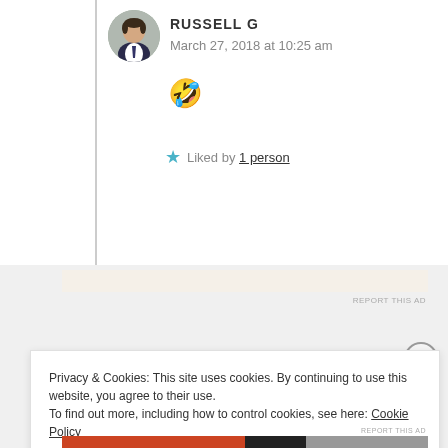[Figure (photo): Circular avatar photo of a man in a white shirt and tie, with dark hair]
RUSSELL G
March 27, 2018 at 10:25 am
🤣
★ Liked by 1 person
[Figure (other): Ad banner placeholder with beige/cream background]
REPORT THIS AD
Privacy & Cookies: This site uses cookies. By continuing to use this website, you agree to their use. To find out more, including how to control cookies, see here: Cookie Policy
Close and accept
REPORT THIS AD